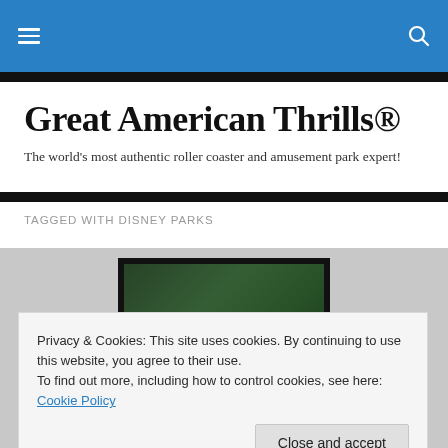Great American Thrills® navigation bar
Great American Thrills®
The world's most authentic roller coaster and amusement park expert!
TAGGED WITH DISNEY PARKS
[Figure (photo): Partial photo of a person holding or displaying a framed picture, with dark frame visible at top center of image area]
Privacy & Cookies: This site uses cookies. By continuing to use this website, you agree to their use.
To find out more, including how to control cookies, see here: Cookie Policy
Close and accept